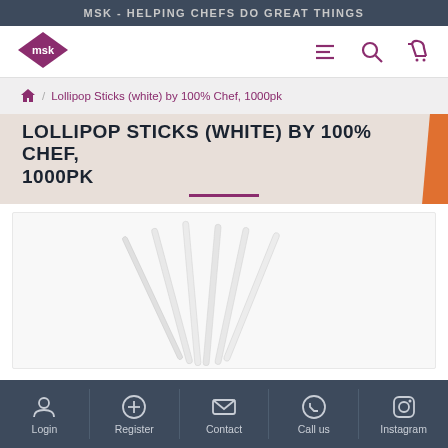MSK - HELPING CHEFS DO GREAT THINGS
[Figure (logo): MSK diamond logo in purple/magenta with white 'msk' text]
Lollipop Sticks (white) by 100% Chef, 1000pk
LOLLIPOP STICKS (WHITE) BY 100% CHEF, 1000PK
[Figure (photo): White lollipop sticks arranged at various angles on a light background]
Login | Register | Contact | Call us | Instagram